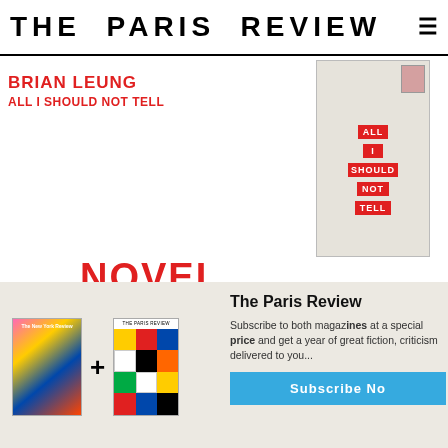THE PARIS REVIEW
[Figure (illustration): Book cover for 'All I Should Not Tell' by Brian Leung. Left side shows red bold text: BRIAN LEUNG / ALL I SHOULD NOT TELL / NOVEL. Right side shows a physical book cover with red scrabble-style tiles spelling ALL / I / SHOULD / NOT / TELL on a light background, with a small stamp in the corner.]
[Figure (infographic): Subscription offer overlay showing a New York Review magazine cover (colorful abstract) plus The Paris Review magazine cover (color grid), with text 'The Paris Review' as title, subscription pitch text, and a blue 'Subscribe Now' button.]
The Paris Review
Subscribe to both magazines at a special price and get a year of great fiction, poetry, and criticism delivered to your door.
[Figure (illustration): Partial blue bird/parrot illustration visible at the bottom of the page.]
< > LAST / NEXT ARTICLE SHARE